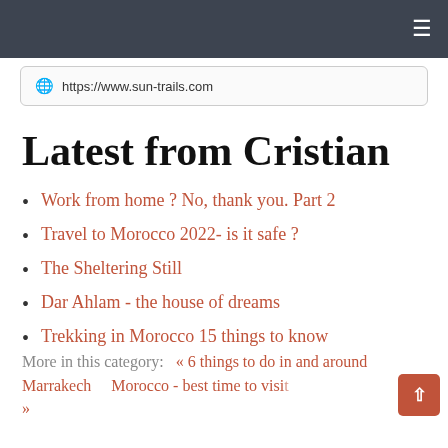≡
🌐 https://www.sun-trails.com
Latest from Cristian
Work from home ? No, thank you. Part 2
Travel to Morocco 2022- is it safe ?
The Sheltering Still
Dar Ahlam - the house of dreams
Trekking in Morocco 15 things to know
More in this category:   « 6 things to do in and around Marrakech     Morocco - best time to visit »